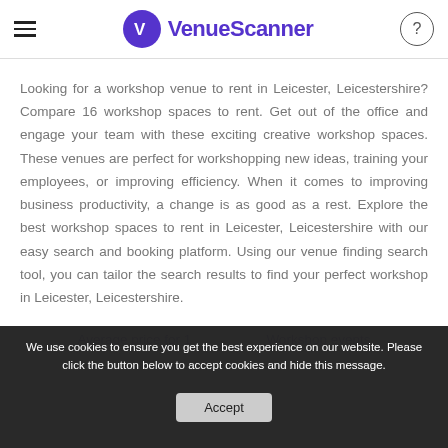VenueScanner
Looking for a workshop venue to rent in Leicester, Leicestershire? Compare 16 workshop spaces to rent. Get out of the office and engage your team with these exciting creative workshop spaces. These venues are perfect for workshopping new ideas, training your employees, or improving efficiency. When it comes to improving business productivity, a change is as good as a rest. Explore the best workshop spaces to rent in Leicester, Leicestershire with our easy search and booking platform. Using our venue finding search tool, you can tailor the search results to find your perfect workshop in Leicester, Leicestershire.
We use cookies to ensure you get the best experience on our website. Please click the button below to accept cookies and hide this message.
Accept